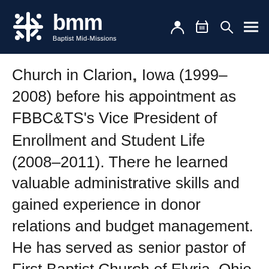bmm Baptist Mid-Missions
Church in Clarion, Iowa (1999–2008) before his appointment as FBBC&TS's Vice President of Enrollment and Student Life (2008–2011). There he learned valuable administrative skills and gained experience in donor relations and budget management. He has served as senior pastor of First Baptist Church of Elyria, Ohio, since 2011 and as a BMM Council member since 2012. He and his wife, Ruth, have been married since 1990. They have four adult children,